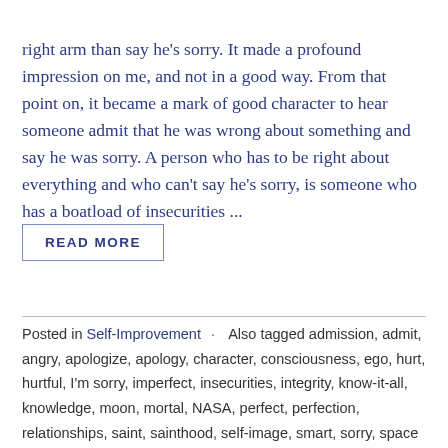right arm than say he's sorry. It made a profound impression on me, and not in a good way. From that point on, it became a mark of good character to hear someone admit that he was wrong about something and say he was sorry. A person who has to be right about everything and who can't say he's sorry, is someone who has a boatload of insecurities ...
READ MORE
Posted in Self-Improvement · Also tagged admission, admit, angry, apologize, apology, character, consciousness, ego, hurt, hurtful, I'm sorry, imperfect, insecurities, integrity, know-it-all, knowledge, moon, mortal, NASA, perfect, perfection, relationships, saint, sainthood, self-image, smart, sorry, space exploration · Leave a comment